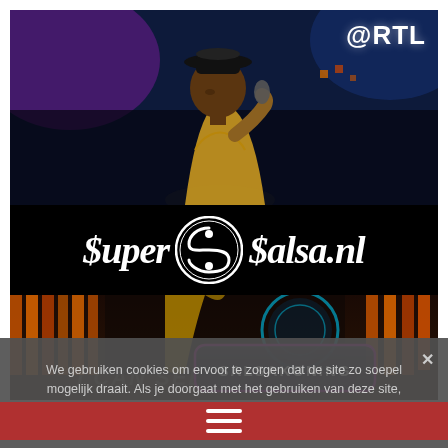[Figure (screenshot): Screenshot of supersalsa.nl website showing a performer on stage from RTL TV show 'I Can See Your Voice', a Super Salsa logo banner, a SALSAKONING badge overlay, and a cookie consent notification at the bottom.]
@RTL
Super Salsa.nl
SALSAKONING
I CAN SEE YOUR VOICE
We gebruiken cookies om ervoor te zorgen dat de site zo soepel mogelijk draait. Als je doorgaat met het gebruiken van deze site, gaan we ervan uit dat je ermee instemt.